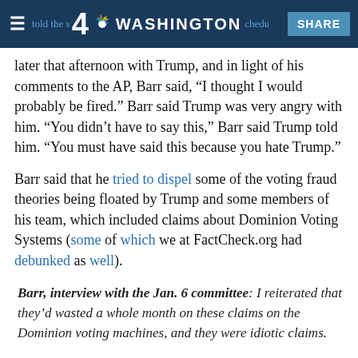≡ 4 NBC WASHINGTON [partially visible text] SHARE
later that afternoon with Trump, and in light of his comments to the AP, Barr said, “I thought I would probably be fired.” Barr said Trump was very angry with him. “You didn’t have to say this,” Barr said Trump told him. “You must have said this because you hate Trump.”
Barr said that he tried to dispel some of the voting fraud theories being floated by Trump and some members of his team, which included claims about Dominion Voting Systems (some of which we at FactCheck.org had debunked as well).
Barr, interview with the Jan. 6 committee: I reiterated that they’d wasted a whole month on these claims on the Dominion voting machines, and they were idiotic claims.